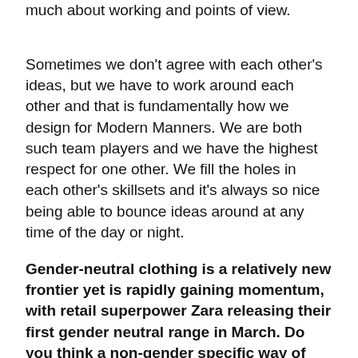much about working and points of view. Sometimes we don't agree with each other's ideas, but we have to work around each other and that is fundamentally how we design for Modern Manners. We are both such team players and we have the highest respect for one other. We fill the holes in each other's skillsets and it's always so nice being able to bounce ideas around at any time of the day or night.
Gender-neutral clothing is a relatively new frontier yet is rapidly gaining momentum, with retail superpower Zara releasing their first gender neutral range in March. Do you think a non-gender specific way of dressing is something we will see more of in the future?
100% – I think gender-neutral clothing will become a predominant feature within most